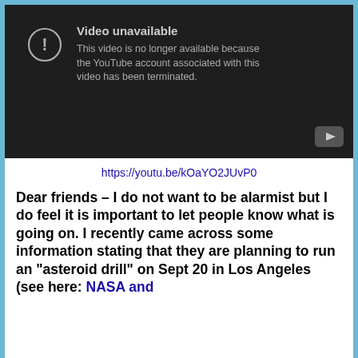[Figure (screenshot): YouTube video unavailable screenshot with dark background. Shows error icon and text: 'Video unavailable. This video is no longer available because the YouTube account associated with this video has been terminated.']
https://youtu.be/kOaYO2JUvP0
Dear friends – I do not want to be alarmist but I do feel it is important to let people know what is going on.  I recently came across some information stating that they are planning to run an “asteroid drill” on Sept 20 in Los Angeles (see here:  NASA and